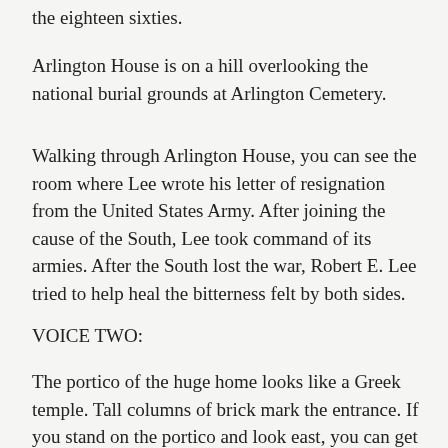the eighteen sixties.
Arlington House is on a hill overlooking the national burial grounds at Arlington Cemetery.
Walking through Arlington House, you can see the room where Lee wrote his letter of resignation from the United States Army. After joining the cause of the South, Lee took command of its armies. After the South lost the war, Robert E. Lee tried to help heal the bitterness felt by both sides.
VOICE TWO:
The portico of the huge home looks like a Greek temple. Tall columns of brick mark the entrance. If you stand on the portico and look east, you can get a fine look at the Potomac River and the Washington skyline.